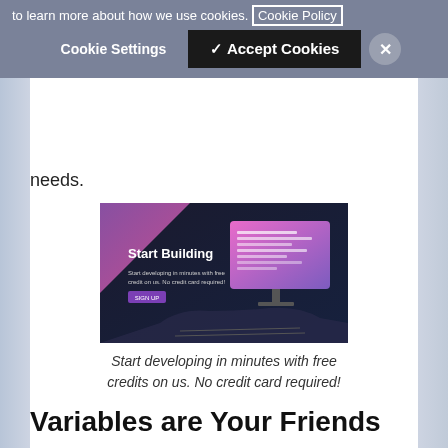to learn more about how we use cookies. Cookie Policy
❯ Cookie Settings  ✓ Accept Cookies  ✕
needs.
[Figure (screenshot): Dark promotional banner showing 'Start Building' with code editor graphic on the right, purple/pink gradient, and laptop silhouette.]
Start developing in minutes with free credits on us. No credit card required!
Variables are Your Friends
When you first import the Vonage APIs Collection into Postman, you'll see a Vonage APIs folder appear under Collections on the left-hand side of your screen.